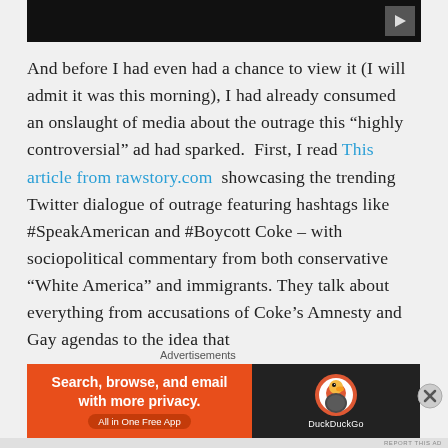[Figure (screenshot): Black video player bar with a play button icon in the top right corner]
And before I had even had a chance to view it (I will admit it was this morning), I had already consumed an onslaught of media about the outrage this “highly controversial” ad had sparked.  First, I read This article from rawstory.com  showcasing the trending Twitter dialogue of outrage featuring hashtags like #SpeakAmerican and #Boycott Coke – with sociopolitical commentary from both conservative “White America” and immigrants. They talk about everything from accusations of Coke’s Amnesty and Gay agendas to the idea that
Advertisements
[Figure (screenshot): DuckDuckGo advertisement banner: orange left panel with text 'Search, browse, and email with more privacy. All in One Free App' and dark right panel with DuckDuckGo logo and brand name]